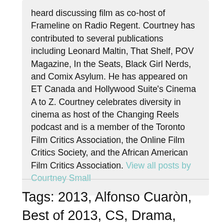heard discussing film as co-host of Frameline on Radio Regent. Courtney has contributed to several publications including Leonard Maltin, That Shelf, POV Magazine, In the Seats, Black Girl Nerds, and Comix Asylum. He has appeared on ET Canada and Hollywood Suite's Cinema A to Z. Courtney celebrates diversity in cinema as host of the Changing Reels podcast and is a member of the Toronto Film Critics Association, the Online Film Critics Society, and the African American Film Critics Association. View all posts by Courtney Small
Tags: 2013, Alfonso Cuaròn, Best of 2013, CS, Drama, Farah Goes Bang, Kandis Erickson, Kiran